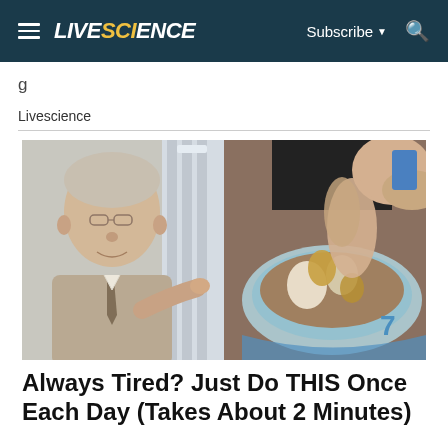LIVESCIENCE — Subscribe — Search
g
Livescience
[Figure (photo): Split image: left side shows an older man in a suit and tie, wearing glasses, pointing at something (a dental model) in a clinical hallway; right side shows close-up hands holding what appears to be a dental model with teeth and soil/excavation material, circular display.]
Always Tired? Just Do THIS Once Each Day (Takes About 2 Minutes)